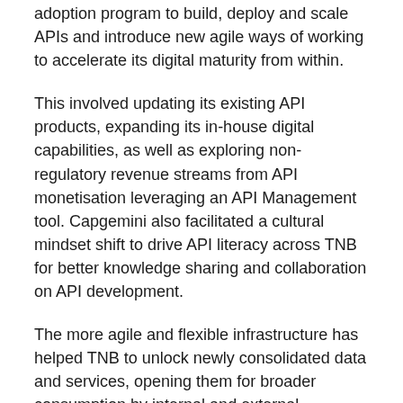adoption program to build, deploy and scale APIs and introduce new agile ways of working to accelerate its digital maturity from within.
This involved updating its existing API products, expanding its in-house digital capabilities, as well as exploring non-regulatory revenue streams from API monetisation leveraging an API Management tool. Capgemini also facilitated a cultural mindset shift to drive API literacy across TNB for better knowledge sharing and collaboration on API development.
The more agile and flexible infrastructure has helped TNB to unlock newly consolidated data and services, opening them for broader consumption by internal and external customers, as well as enabling reusability, enhanced security, and the strengthening of governance requirements.